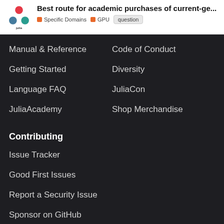Best route for academic purchases of current-ge... | Specific Domains | GPU | question
Manual & Reference
Code of Conduct
Getting Started
Diversity
Language FAQ
JuliaCon
JuliaAcademy
Shop Merchandise
Contributing
Issue Tracker
Good First Issues
Report a Security Issue
Sponsor on GitHub
FAQ  Terms of service  About  Privacy